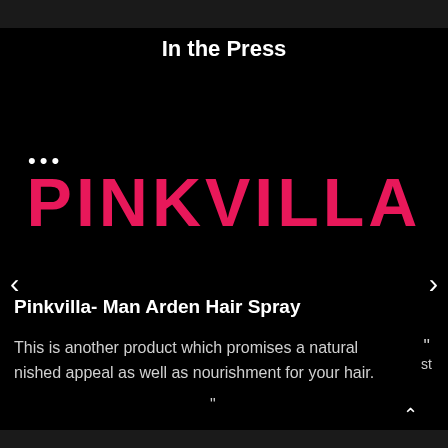In the Press
...
[Figure (logo): PINKVILLA logo in bold pink text on black background]
Pinkvilla- Man Arden Hair Spray
This is another product which promises a natural nished appeal as well as nourishment for your hair.